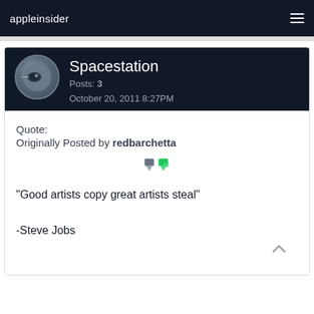appleinsider
Spacestation
Posts: 3
October 20, 2011 8:27PM
Quote:
Originally Posted by redbarchetta
"Good artists copy great artists steal"
-Steve Jobs